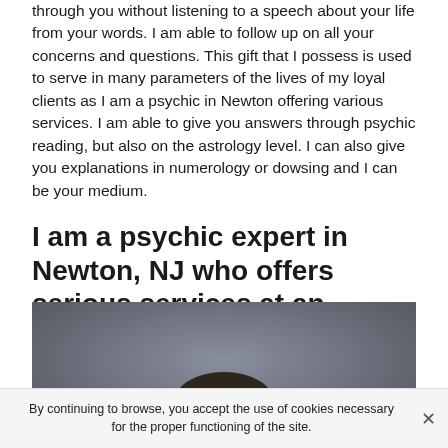through you without listening to a speech about your life from your words. I am able to follow up on all your concerns and questions. This gift that I possess is used to serve in many parameters of the lives of my loyal clients as I am a psychic in Newton offering various services. I am able to give you answers through psychic reading, but also on the astrology level. I can also give you explanations in numerology or dowsing and I can be your medium.
I am a psychic expert in Newton, NJ who offers serious services at an affordable price
[Figure (photo): Portrait photo showing the top/back of a person's head with dark hair against a grey/dark background.]
By continuing to browse, you accept the use of cookies necessary for the proper functioning of the site.